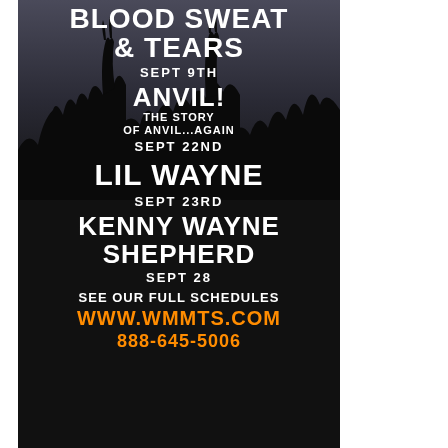BLOOD SWEAT & TEARS
SEPT 9TH
ANVIL! THE STORY OF ANVIL...AGAIN
SEPT 22ND
LIL WAYNE
SEPT 23RD
KENNY WAYNE SHEPHERD
SEPT 28
SEE OUR FULL SCHEDULES
WWW.WMMTS.COM
888-645-5006